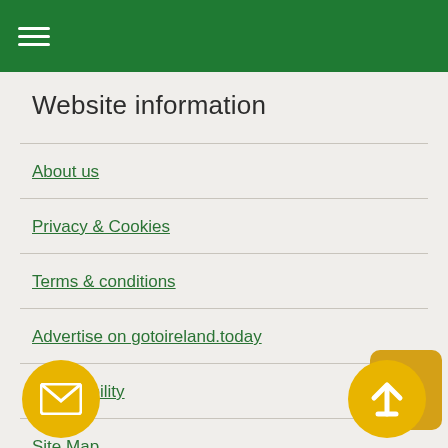Website information
About us
Privacy & Cookies
Terms & conditions
Advertise on gotoireland.today
Accessibility
Site Map
Contact Us
[Figure (logo): Facebook icon button with yellow/gold background]
[Figure (illustration): Email envelope icon in yellow circle]
[Figure (illustration): Up arrow icon in yellow circle]